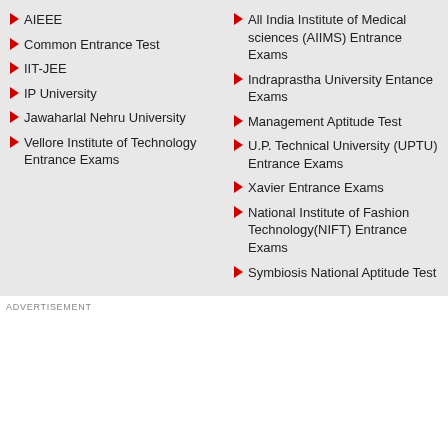AIEEE
Common Entrance Test
IIT-JEE
IP University
Jawaharlal Nehru University
Vellore Institute of Technology Entrance Exams
All India Institute of Medical sciences (AIIMS) Entrance Exams
Indraprastha University Entance Exams
Management Aptitude Test
U.P. Technical University (UPTU) Entrance Exams
Xavier Entrance Exams
National Institute of Fashion Technology(NIFT) Entrance Exams
Symbiosis National Aptitude Test
ADVERTISEMENT